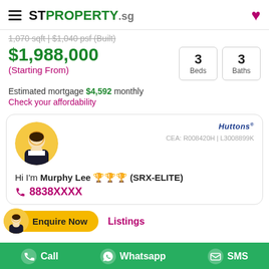STPROPERTY.sg
1,070 sqft | $1,040 psf (Built)
$1,988,000 (Starting From)
3 Beds  3 Baths
Estimated mortgage $4,592 monthly
Check your affordability
Hi I'm Murphy Lee 🏆🏆🏆 (SRX-ELITE) 8838XXXX
Huttons CEA: R008420H | L3008899K
Enquire Now  Listings
Call  Whatsapp  SMS